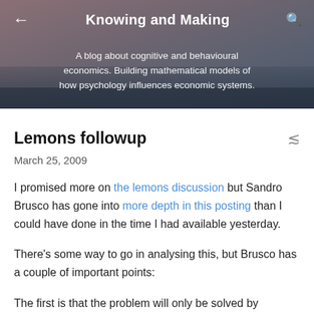Knowing and Making
A blog about cognitive and behavioural economics. Building mathematical models of how psychology influences economic systems.
Lemons followup
March 25, 2009
I promised more on the lemons discussion but Sandro Brusco has gone into more depth in this posting than I could have done in the time I had available yesterday.
There's some way to go in analysing this, but Brusco has a couple of important points:
The first is that the problem will only be solved by revealing information. He suggests doing this by requiring managers to